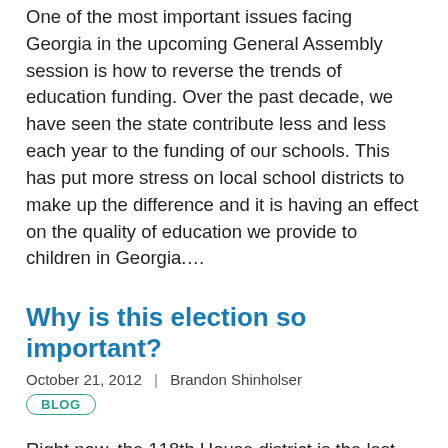One of the most important issues facing Georgia in the upcoming General Assembly session is how to reverse the trends of education funding. Over the past decade, we have seen the state contribute less and less each year to the funding of our schools. This has put more stress on local school districts to make up the difference and it is having an effect on the quality of education we provide to children in Georgia.…
Why is this election so important?
October 21, 2012  |  Brandon Shinholser
BLOG
Right now, the 118th House district is the last Democratic seat in Athens-Clarke County. We have 2 Republican Senators, 1 Republican Congressmen with the potential for a 2nd, 2 Republican State House members and 2 Republican State Senators. We can't afford to let...